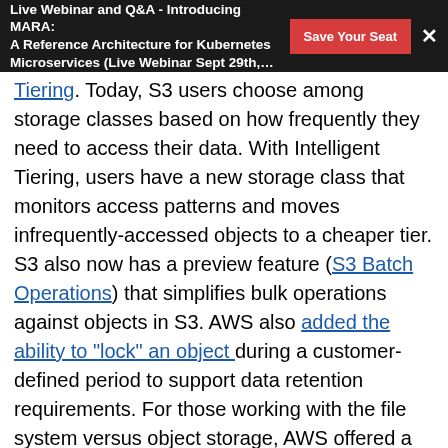Live Webinar and Q&A - Introducing MARA: A Reference Architecture for Kubernetes Microservices (Live Webinar Sept 29th,…
received, how they updated. First, it got Intelligent Tiering. Today, S3 users choose among storage classes based on how frequently they need to access their data. With Intelligent Tiering, users have a new storage class that monitors access patterns and moves infrequently-accessed objects to a cheaper tier. S3 also now has a preview feature (S3 Batch Operations) that simplifies bulk operations against objects in S3. AWS also added the ability to "lock" an object during a customer-defined period to support data retention requirements. For those working with the file system versus object storage, AWS offered a pair of relevant announcements. Amazon FSx for Lustre offers a managed, distributed file system for compute-intensive workloads. And, Amazon FSx for Windows